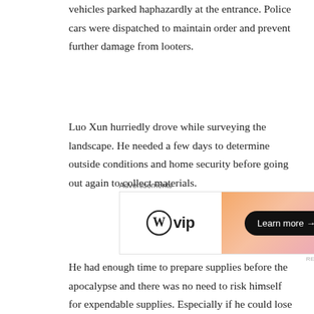vehicles parked haphazardly at the entrance. Police cars were dispatched to maintain order and prevent further damage from looters.
Luo Xun hurriedly drove while surveying the landscape. He needed a few days to determine outside conditions and home security before going out again to collect materials.
[Figure (other): WordPress VIP advertisement banner with 'Learn more' button on an orange-pink gradient background]
He had enough time to prepare supplies before the apocalypse and there was no need to risk himself for expendable supplies. Especially if he could lose everything. Luo Xun briefly noted that the number of cars